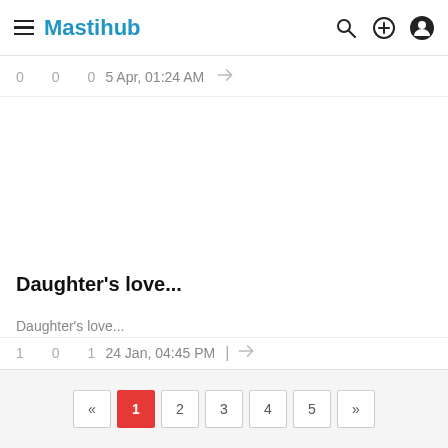Mastihub
0   0   0   5 Apr, 01:24 AM
Daughter's love...
Daughter's love...
1   0   1   24 Jan, 04:45 PM
« 1 2 3 4 5 »